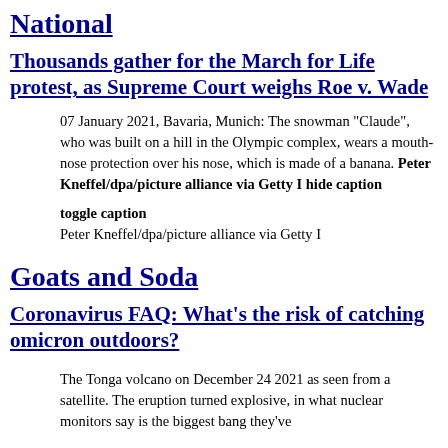National
Thousands gather for the March for Life protest, as Supreme Court weighs Roe v. Wade
07 January 2021, Bavaria, Munich: The snowman "Claude", who was built on a hill in the Olympic complex, wears a mouth-nose protection over his nose, which is made of a banana. Peter Kneffel/dpa/picture alliance via Getty I hide caption
toggle caption
Peter Kneffel/dpa/picture alliance via Getty I
Goats and Soda
Coronavirus FAQ: What's the risk of catching omicron outdoors?
The Tonga volcano on December 24 2021 as seen from a satellite. The eruption turned explosive, in what nuclear monitors say is the biggest bang they've